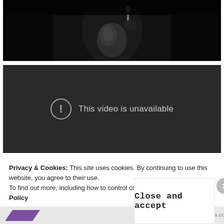[Figure (photo): Black and white photograph of a person in dark clothing holding what appears to be a lit candle or torch, mostly dark background]
[Figure (screenshot): Dark video player showing error message: This video is unavailable, with an exclamation mark icon in a circle]
Privacy & Cookies: This site uses cookies. By continuing to use this website, you agree to their use.
To find out more, including how to control cookies, see here: Cookie Policy
Close and accept